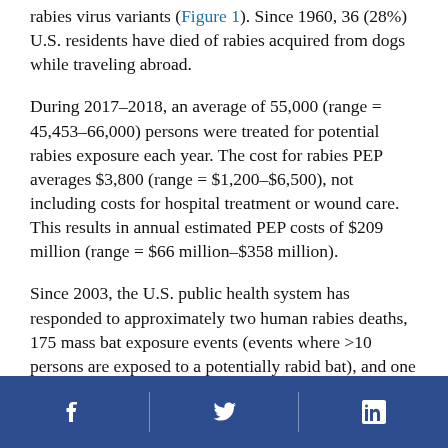rabies virus variants (Figure 1). Since 1960, 36 (28%) U.S. residents have died of rabies acquired from dogs while traveling abroad.
During 2017–2018, an average of 55,000 (range = 45,453–66,000) persons were treated for potential rabies exposure each year. The cost for rabies PEP averages $3,800 (range = $1,200–$6,500), not including costs for hospital treatment or wound care. This results in annual estimated PEP costs of $209 million (range = $66 million–$358 million).
Since 2003, the U.S. public health system has responded to approximately two human rabies deaths, 175 mass bat exposure events (events where >10 persons are exposed to a potentially rabid bat), and one rabid dog importation every year (Table).
[Figure (other): Social media footer bar with Facebook, Twitter, and LinkedIn icons on a dark blue background]